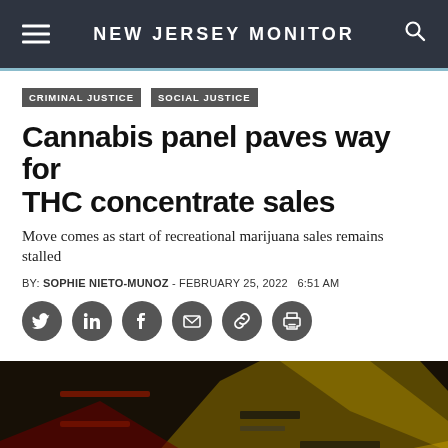NEW JERSEY MONITOR
CRIMINAL JUSTICE
SOCIAL JUSTICE
Cannabis panel paves way for THC concentrate sales
Move comes as start of recreational marijuana sales remains stalled
BY: SOPHIE NIETO-MUNOZ - FEBRUARY 25, 2022  6:51 AM
[Figure (photo): Close-up photo of hands on a surface with colorful cannabis-related printed materials in black, yellow, and red colors visible in the background]
[Figure (other): Social media sharing icons row: Twitter, LinkedIn, Facebook, Email, Link, Print — all in dark gray circles]